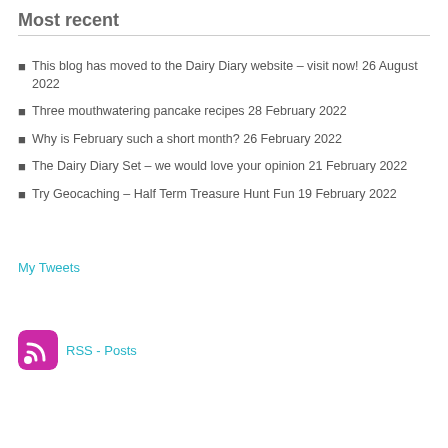Most recent
This blog has moved to the Dairy Diary website – visit now! 26 August 2022
Three mouthwatering pancake recipes 28 February 2022
Why is February such a short month? 26 February 2022
The Dairy Diary Set – we would love your opinion 21 February 2022
Try Geocaching – Half Term Treasure Hunt Fun 19 February 2022
My Tweets
RSS - Posts
[Figure (other): Social media icons: Facebook, Twitter, Pinterest, YouTube]